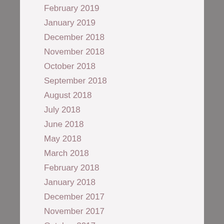February 2019
January 2019
December 2018
November 2018
October 2018
September 2018
August 2018
July 2018
June 2018
May 2018
March 2018
February 2018
January 2018
December 2017
November 2017
October 2017
September 2017
August 2017
July 2017